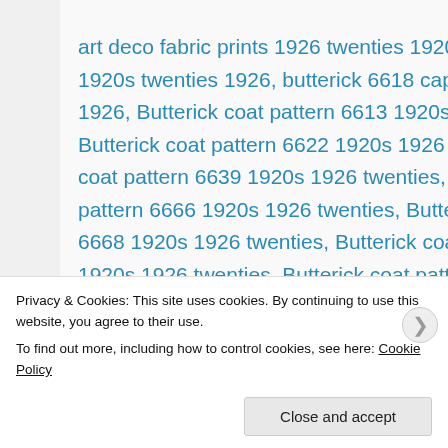art deco fabric prints 1926 twenties 1920s, border prints 1920s twenties 1926, butterick 6618 cape pattern 1920s 1926, Butterick coat pattern 6613 1920s 1926 twenties, Butterick coat pattern 6622 1920s 1926 twenties, Butterick coat pattern 6639 1920s 1926 twenties, Butterick coat pattern 6666 1920s 1926 twenties, Butterick coat pattern 6668 1920s 1926 twenties, Butterick coat pattern 6674 1920s 1926 twenties, Butterick coat pattern 6685 1920s 1926 twenties, butterick dress pattern 6587 from 1926 twenties 1920s, butterick...
Privacy & Cookies: This site uses cookies. By continuing to use this website, you agree to their use.
To find out more, including how to control cookies, see here: Cookie Policy